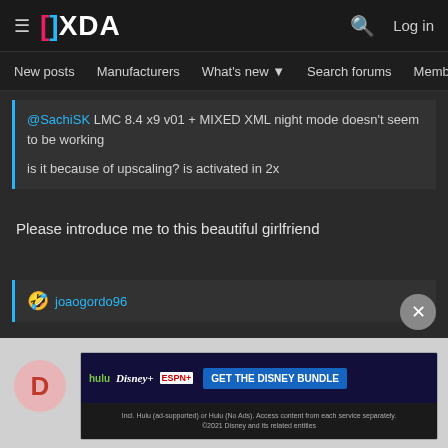XDA — New posts | Manufacturers | What's new | Search forums | Members
@SachiSK LMC 8.4 x9 v01 + MIXED XML night mode doesn't seem to be working

is it because of upscaling? is activated in 2x
Please introduce me to this beautiful girlfriend
🤣 joaogordo96
[Figure (infographic): Disney Bundle advertisement banner: hulu Disney+ ESPN+ GET THE DISNEY BUNDLE. Incl. Hulu (ad-supported) or Hulu (No Ads). Access content from each service separately. ©2021 Disney and its related entities]